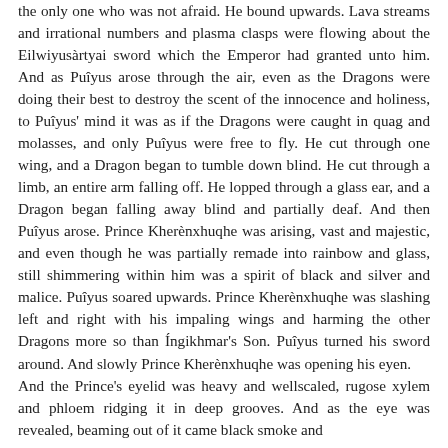the only one who was not afraid. He bound upwards. Lava streams and irrational numbers and plasma clasps were flowing about the Eilwiyusàrtyai sword which the Emperor had granted unto him. And as Puîyus arose through the air, even as the Dragons were doing their best to destroy the scent of the innocence and holiness, to Puîyus' mind it was as if the Dragons were caught in quag and molasses, and only Puîyus were free to fly. He cut through one wing, and a Dragon began to tumble down blind. He cut through a limb, an entire arm falling off. He lopped through a glass ear, and a Dragon began falling away blind and partially deaf. And then Puîyus arose. Prince Kherènxhuqhe was arising, vast and majestic, and even though he was partially remade into rainbow and glass, still shimmering within him was a spirit of black and silver and malice. Puîyus soared upwards. Prince Kherènxhuqhe was slashing left and right with his impaling wings and harming the other Dragons more so than Íngikhmar's Son. Puîyus turned his sword around. And slowly Prince Kherènxhuqhe was opening his eyen.
And the Prince's eyelid was heavy and wellscaled, rugose xylem and phloem ridging it in deep grooves. And as the eye was revealed, beaming out of it came black smoke and